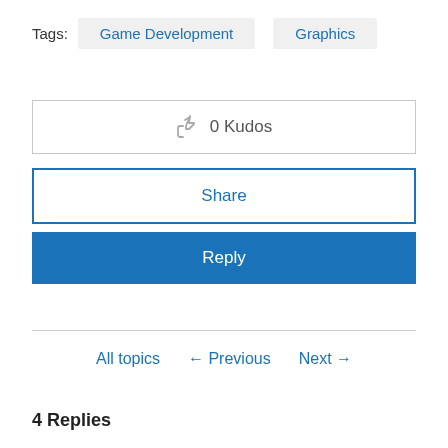Tags: Game Development  Graphics
👍 0 Kudos
Share
Reply
All topics  ← Previous  Next →
4 Replies